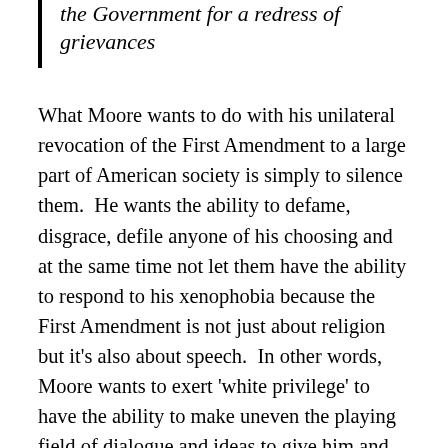the Government for a redress of grievances
What Moore wants to do with his unilateral revocation of the First Amendment to a large part of American society is simply to silence them.  He wants the ability to defame, disgrace, defile anyone of his choosing and at the same time not let them have the ability to respond to his xenophobia because the First Amendment is not just about religion but it’s also about speech.  In other words, Moore wants to exert ‘white privilege’ to have the ability to make uneven the playing field of dialogue and ideas to give him and all like him an undo advantage gained solely because he says so to decide who controls what is said, practiced and even brought before the